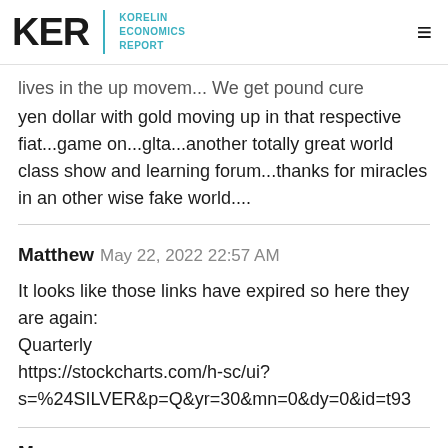KER | KORELIN ECONOMICS REPORT
...lives in the up movem... We get pound cure yen dollar with gold moving up in that respective fiat...game on...glta...another totally great world class show and learning forum...thanks for miracles in an other wise fake world....
Matthew  May 22, 2022 22:57 AM
It looks like those links have expired so here they are again:
Quarterly
https://stockcharts.com/h-sc/ui?
s=%24SILVER&p=Q&yr=30&mn=0&dy=0&id=t93
Ma...